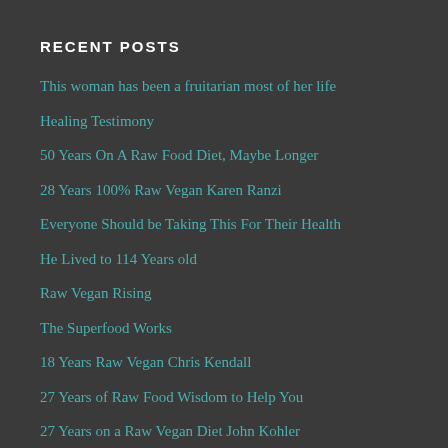RECENT POSTS
This woman has been a fruitarian most of her life
Healing Testimony
50 Years On A Raw Food Diet, Maybe Longer
28 Years 100% Raw Vegan Karen Ranzi
Everyone Should be Taking This For Their Health
He Lived to 114 Years old
Raw Vegan Rising
The Superfood Works
18 Years Raw Vegan Chris Kendall
27 Years of Raw Food Wisdom to Help You
27 Years on a Raw Vegan Diet John Kohler
He Started The Raw Food Movement Viktoras